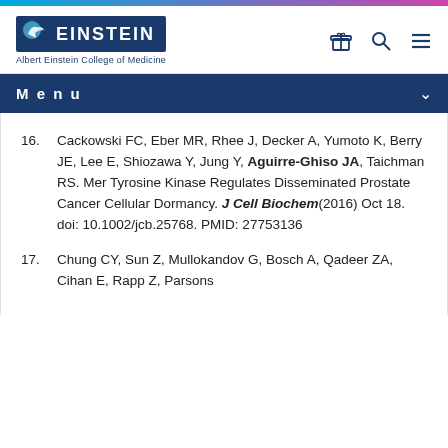[Figure (logo): Albert Einstein College of Medicine logo with blue box, stylized bird, and EINSTEIN text]
Menu
16. Cackowski FC, Eber MR, Rhee J, Decker A, Yumoto K, Berry JE, Lee E, Shiozawa Y, Jung Y, Aguirre-Ghiso JA, Taichman RS. Mer Tyrosine Kinase Regulates Disseminated Prostate Cancer Cellular Dormancy. J Cell Biochem(2016) Oct 18. doi: 10.1002/jcb.25768. PMID: 27753136
17. Chung CY, Sun Z, Mullokandov G, Bosch A, Qadeer ZA, Cihan E, Rapp Z, Parsons